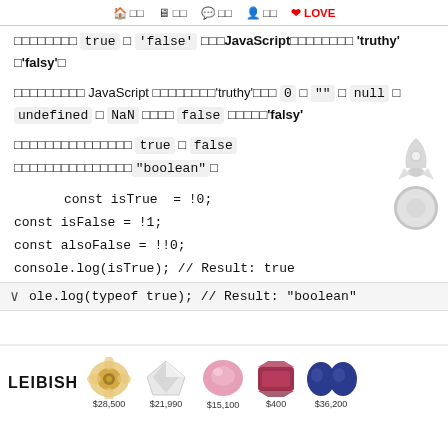🏠 □□  □ □□  💬 □□  👤 □□  ❤ LOVE
□□□□□□□□ true □ 'false' □□□JavaScript□□□□□□□□ 'truthy' □'falsy'□
□□□□□□□□□ JavaScript □□□□□□□□'truthy'□□□ 0 □ "" □ null □ undefined □ NaN □□□□ false □□□□□**'falsy'**
□□□□□□□□□□□□□□□ true □ false □□□□□□□□□□□□□□□"boolean"□
const isTrue  = !0;
const isFalse = !1;
const alsoFalse = !!0;
console.log(isTrue); // Result: true
ole.log(typeof true); // Result: "boolean"
[Figure (infographic): Advertisement banner for LEIBISH jewelry showing gemstones with prices: $28,500, $21,990, $15,100, $400, $36,200]